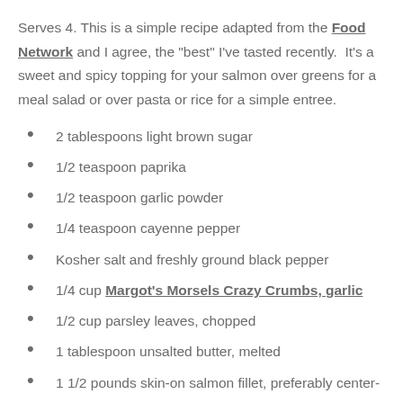Serves 4. This is a simple recipe adapted from the Food Network and I agree, the "best" I've tasted recently.  It's a sweet and spicy topping for your salmon over greens for a meal salad or over pasta or rice for a simple entree.
2 tablespoons light brown sugar
1/2 teaspoon paprika
1/2 teaspoon garlic powder
1/4 teaspoon cayenne pepper
Kosher salt and freshly ground black pepper
1/4 cup Margot's Morsels Crazy Crumbs, garlic
1/2 cup parsley leaves, chopped
1 tablespoon unsalted butter, melted
1 1/2 pounds skin-on salmon fillet, preferably center-